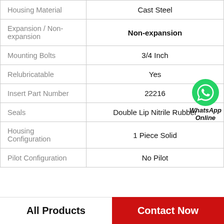| Property | Value |
| --- | --- |
| Housing Material | Cast Steel |
| Expansion / Non-expansion | Non-expansion |
| Mounting Bolts | 3/4 Inch |
| Relubricatable | Yes |
| Insert Part Number | 22216 |
| Seals | Double Lip Nitrile Rubber |
| Housing Configuration | 1 Piece Solid |
| Pilot Configuration | No Pilot |
All Products   Contact Now